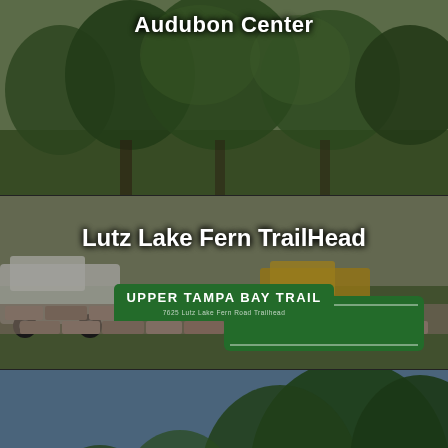[Figure (photo): Photo of Audubon Center with trees and green landscape visible]
Audubon Center
[Figure (photo): Photo of Lutz Lake Fern TrailHead showing the Upper Tampa Bay Trail sign with rocks, vehicles in background and green lawn]
Lutz Lake Fern TrailHead
[Figure (photo): Photo of Northdale Park showing a playground structure with slides and a pavilion area with trees in background]
NORTHDALE PARK
[Figure (photo): Partial photo of a fourth location showing colorful signage and crowds, cut off at bottom of page]